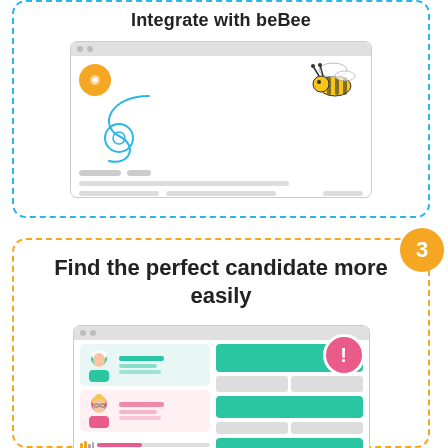Integrate with beBee
[Figure (illustration): Browser mockup showing beBee logo and bee graphic with swirling line and placeholder content rows]
[Figure (infographic): Orange circle badge with number 3]
Find the perfect candidate more easily
[Figure (illustration): Browser mockup showing two candidate profile illustrations with teal and pink colors, notification exclamation badge, and profile cards]